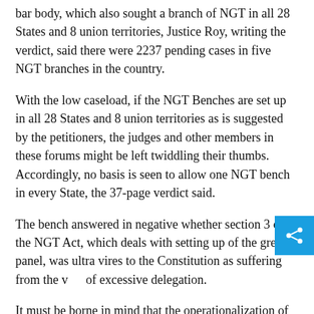bar body, which also sought a branch of NGT in all 28 States and 8 union territories, Justice Roy, writing the verdict, said there were 2237 pending cases in five NGT branches in the country.
With the low caseload, if the NGT Benches are set up in all 28 States and 8 union territories as is suggested by the petitioners, the judges and other members in these forums might be left twiddling their thumbs. Accordingly, no basis is seen to allow one NGT bench in every State, the 37-page verdict said.
The bench answered in negative whether section 3 of the NGT Act, which deals with setting up of the green panel, was ultra vires to the Constitution as suffering from the vice of excessive delegation.
It must be borne in mind that the operationalization of the NGT, including the location of its Benches, was closely monitored by the Supreme Court. It is further seen that the